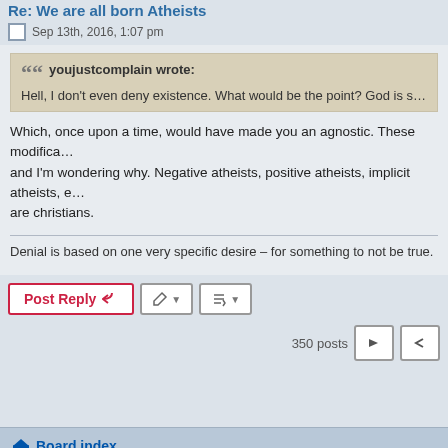Re: We are all born Atheists
Sep 13th, 2016, 1:07 pm
youjustcomplain wrote:
Hell, I don't even deny existence. What would be the point? God is somethi…
Which, once upon a time, would have made you an agnostic. These modifica… and I'm wondering why. Negative atheists, positive atheists, implicit atheists, e… are christians.
Denial is based on one very specific desire – for something to not be true.
Post Reply
350 posts
Board index
Powered by phpBB